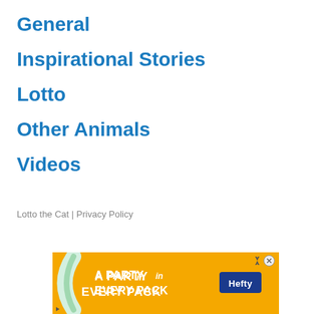General
Inspirational Stories
Lotto
Other Animals
Videos
Lotto the Cat | Privacy Policy
[Figure (other): Hefty brand advertisement banner: orange background with white text 'A PARTY in EVERY PACK' and Hefty logo, with decorative arc graphic on left side.]